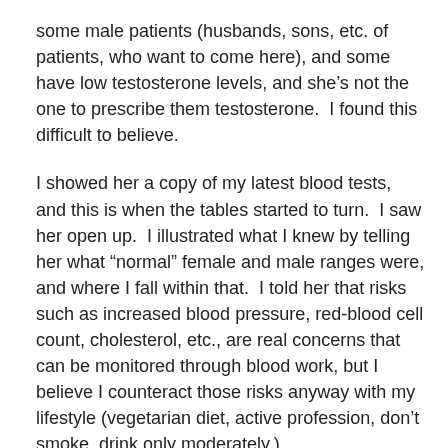some male patients (husbands, sons, etc. of patients, who want to come here), and some have low testosterone levels, and she’s not the one to prescribe them testosterone.  I found this difficult to believe.
I showed her a copy of my latest blood tests, and this is when the tables started to turn.  I saw her open up.  I illustrated what I knew by telling her what “normal” female and male ranges were, and where I fall within that.  I told her that risks such as increased blood pressure, red-blood cell count, cholesterol, etc., are real concerns that can be monitored through blood work, but I believe I counteract those risks anyway with my lifestyle (vegetarian diet, active profession, don’t smoke, drink only moderately.)
I told her, bluntly, “It’s not that complicated.”